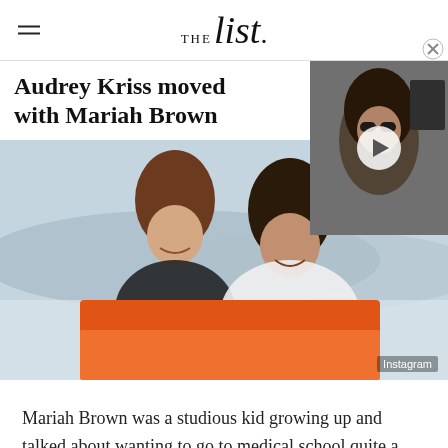THE List.
Audrey Kriss moved with Mariah Brown
[Figure (photo): Video thumbnail showing a man with long hair and sunglasses, with a play button overlay]
[Figure (photo): Photo of two young women smiling and laughing outdoors, holding an orange flag or cloth. One has lighter hair, one has darker hair. Desert lake backdrop. Instagram credit shown.]
Mariah Brown was a studious kid growing up and talked about wanting to go to medical school quite a